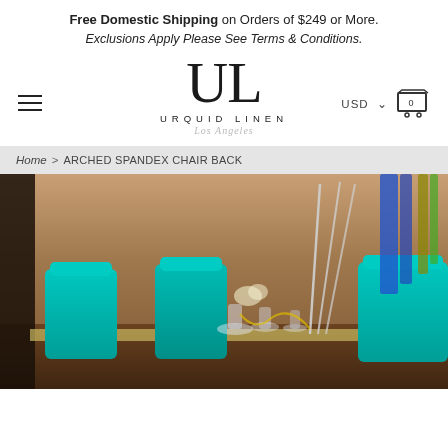Free Domestic Shipping on Orders of $249 or More. Exclusions Apply Please See Terms & Conditions.
[Figure (logo): Urquid Linen Los Angeles logo with large stylized UL monogram]
Home > ARCHED SPANDEX CHAIR BACK
[Figure (photo): Event table setup with turquoise spandex chair backs, decorated table with glassware and ornate centerpiece with gold and blue ribbons, warm wood-toned room background]